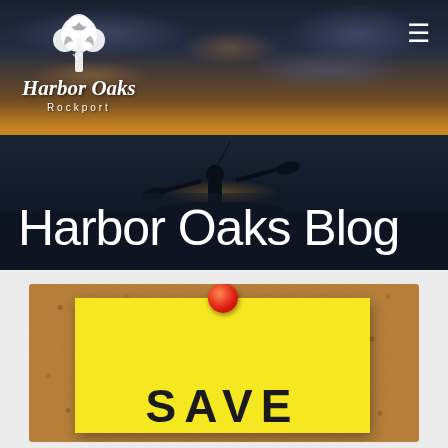[Figure (photo): Harbor Oaks Rockport hero banner with sunset kayaker silhouette on water, orange and dark blue sky]
Harbor Oaks Blog
[Figure (photo): Cork board with yellow sticky note pinned by red pushpin, text 'SAVE' partially visible at bottom]